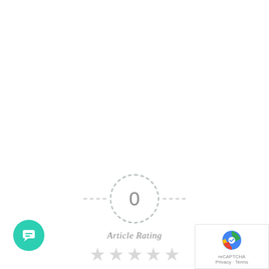[Figure (other): Article rating widget: dashed circle containing '0' with dashed horizontal lines on either side, 'Article Rating' label below, and five light gray stars beneath the label.]
[Figure (other): Green circular chat button with a white message/chat icon in the bottom-left corner.]
[Figure (other): Google reCAPTCHA badge in the bottom-right corner showing the reCAPTCHA logo and 'Privacy - Terms' text.]